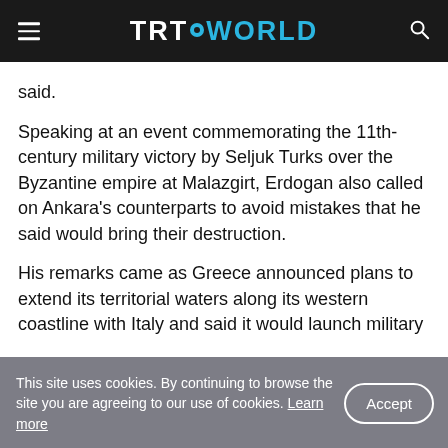TRT WORLD
said.
Speaking at an event commemorating the 11th-century military victory by Seljuk Turks over the Byzantine empire at Malazgirt, Erdogan also called on Ankara's counterparts to avoid mistakes that he said would bring their destruction.
His remarks came as Greece announced plans to extend its territorial waters along its western coastline with Italy and said it would launch military
This site uses cookies. By continuing to browse the site you are agreeing to our use of cookies. Learn more